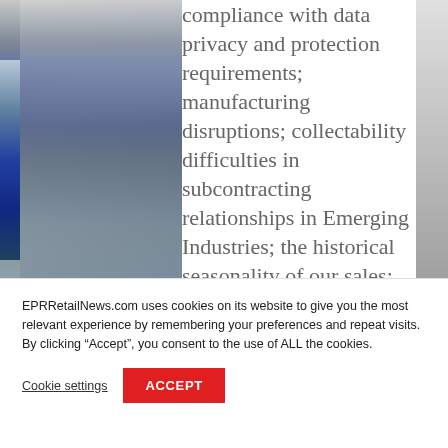[Figure (photo): Partial view of a retail/news website page background image on the left side, with merchandise or display items visible]
compliance with data privacy and protection requirements; manufacturing disruptions; collectability difficulties in subcontracting relationships in Emerging Industries; the historical seasonality of our sales; the availability and success of acquisitions, divestitures and alliances; our pension strategy and underfunded pension obligation; the success of our ongoing restructuring plan; tax
EPRRetailNews.com uses cookies on its website to give you the most relevant experience by remembering your preferences and repeat visits. By clicking “Accept”, you consent to the use of ALL the cookies.
Cookie settings
ACCEPT